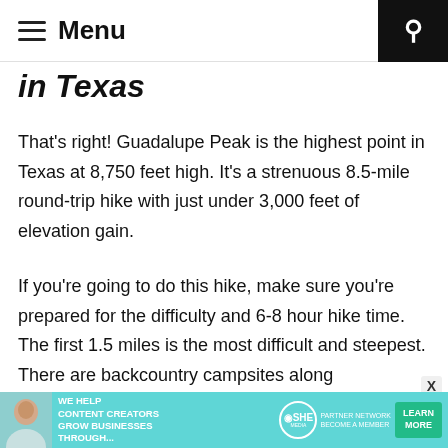Menu
in Texas
That's right! Guadalupe Peak is the highest point in Texas at 8,750 feet high. It's a strenuous 8.5-mile round-trip hike with just under 3,000 feet of elevation gain.
If you're going to do this hike, make sure you're prepared for the difficulty and 6-8 hour hike time. The first 1.5 miles is the most difficult and steepest. There are backcountry campsites along
[Figure (photo): Advertisement banner: SHE Partner Network — We help content creators grow businesses through... Learn More button]